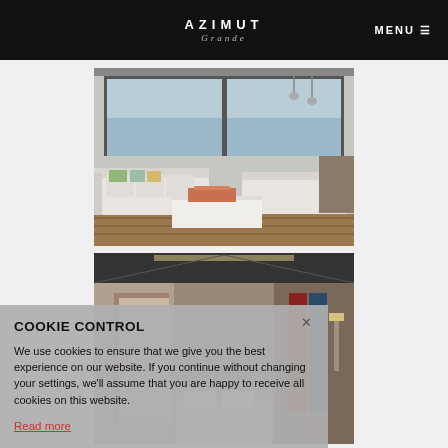AZIMUT Grande — MENU
[Figure (photo): Yacht interior salon with white sofas, decorative pillows, ocean view through large windows, hardwood floors, and a coffee table with a tray]
[Figure (photo): Yacht cabin/room interior with modern furnishings, dark ceiling, and accent lighting]
COOKIE CONTROL
We use cookies to ensure that we give you the best experience on our website. If you continue without changing your settings, we'll assume that you are happy to receive all cookies on this website.
Read more